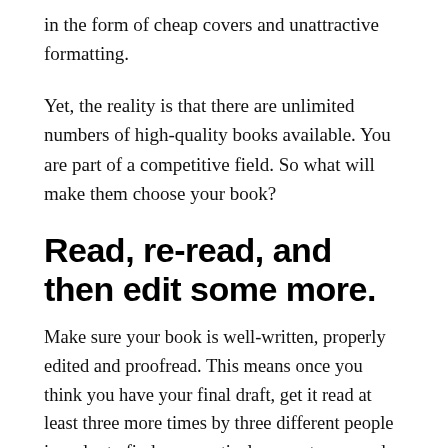in the form of cheap covers and unattractive formatting.
Yet, the reality is that there are unlimited numbers of high-quality books available. You are part of a competitive field. So what will make them choose your book?
Read, re-read, and then edit some more.
Make sure your book is well-written, properly edited and proofread. This means once you think you have your final draft, get it read at least three more times by three different people in order to find grammatical errors, typos, and factual